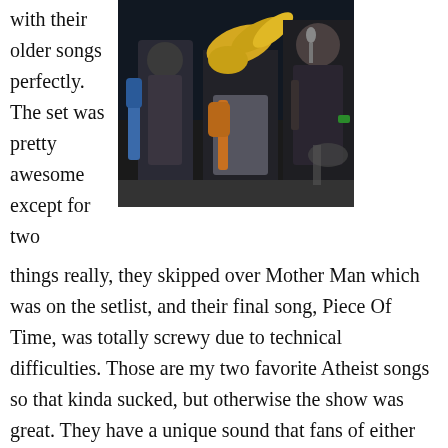with their older songs perfectly. The set was pretty awesome except for two
[Figure (photo): Concert photo showing band members performing on stage — a guitarist with long blonde hair headbanging, a bassist in the background with a blue guitar, and a vocalist/guitarist on the right with tattoos singing into a microphone.]
things really, they skipped over Mother Man which was on the setlist, and their final song, Piece Of Time, was totally screwy due to technical difficulties. Those are my two favorite Atheist songs so that kinda sucked, but otherwise the show was great. They have a unique sound that fans of either technical heavy metal or jazz will enjoy, not just people who are fans of both. The band is really tight live and it sure is fun watching them play those kick ass tunes in person. The audience begged for an encore but guitarist Chris Baker came out on stage and said they couldn't